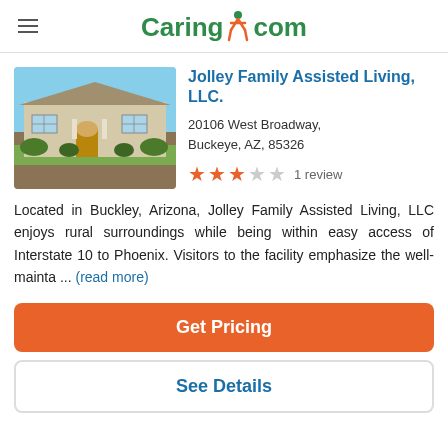Caring.com
Jolley Family Assisted Living, LLC.
20106 West Broadway, Buckeye, AZ, 85326
[Figure (other): Photo of a single-story residential house with white stucco exterior, tile roof, landscaped front yard, used as the facility image for Jolley Family Assisted Living LLC.]
1 review (3 out of 5 stars)
Located in Buckley, Arizona, Jolley Family Assisted Living, LLC enjoys rural surroundings while being within easy access of Interstate 10 to Phoenix. Visitors to the facility emphasize the well-mainta ... (read more)
Get Pricing
See Details